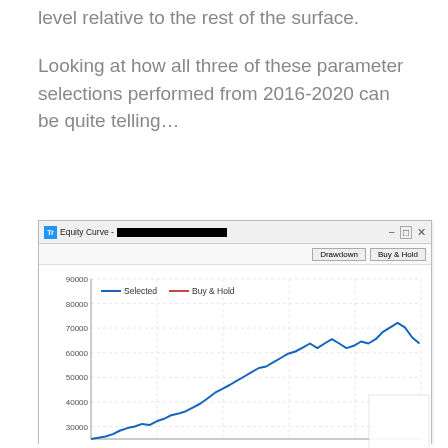level relative to the rest of the surface.
Looking at how all three of these parameter selections performed from 2016-2020 can be quite telling...
[Figure (line-chart): Equity Curve]